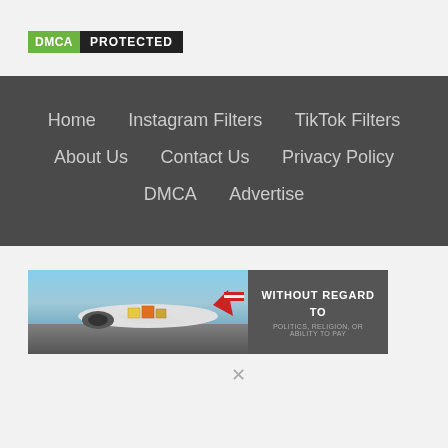[Figure (logo): DMCA Protected badge with green DMCA label and dark PROTECTED label]
Home    Instagram Filters    TikTok Filters    About Us    Contact Us    Privacy Policy    DMCA    Advertise
[Figure (photo): Advertisement banner showing an airplane being loaded with cargo, with text 'WITHOUT REGARD TO POLITICS, RELIGION, OR ABILITY TO PAY']